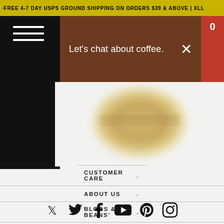·FREE 4-7 DAY USPS GROUND SHIPPING ON ORDERS $39 & ABOVE | XLL
Let's chat about coffee.
[Figure (logo): Circular coffee brand logo, blurred in background]
CUSTOMER CARE
ABOUT US
BLOGS & BEANS'
PRESS KIT
[Figure (infographic): Social media icons row: Twitter, Facebook, YouTube, Pinterest, Instagram]